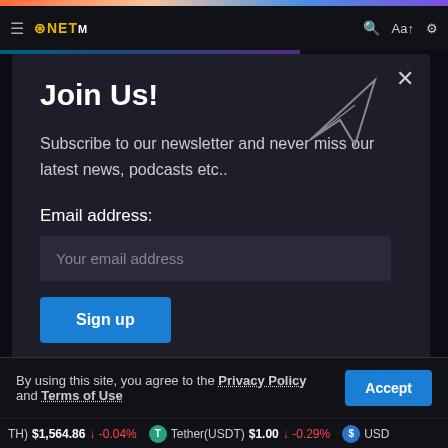NETM [navigation bar with hamburger menu, logo, search, font size, and settings icons]
Join Us!
Subscribe to our newsletter and never miss our latest news, podcasts etc..
Email address:
Your email address
Sign up
Zero spam. Unsubscribe at any time.
By using this site, you agree to the Privacy Policy and Terms of Use.
(TH) $1,564.86 | -0.04%   Tether(USDT) $1.00 | -0.29%   USD